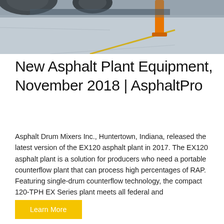[Figure (photo): Top portion of industrial vehicle or equipment on a concrete floor with a yellow stand/jack visible]
New Asphalt Plant Equipment, November 2018 | AsphaltPro
Asphalt Drum Mixers Inc., Huntertown, Indiana, released the latest version of the EX120 asphalt plant in 2017. The EX120 asphalt plant is a solution for producers who need a portable counterflow plant that can process high percentages of RAP. Featuring single-drum counterflow technology, the compact 120-TPH EX Series plant meets all federal and
Learn More
[Figure (photo): Industrial asphalt mixing drum/equipment against a blue sky background with a dark circular scroll-to-top button visible]